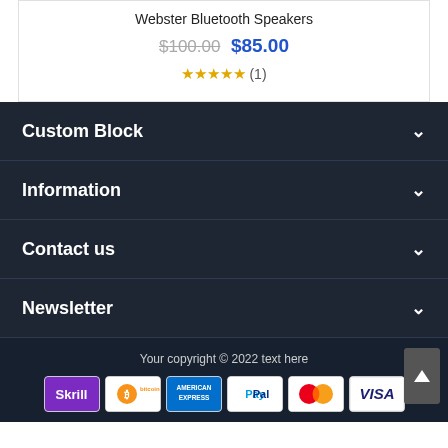Webster Bluetooth Speakers
$100.00 $85.00
★★★★★ (1)
Custom Block
Information
Contact us
Newsletter
Your copyright © 2022 text here
[Figure (logo): Payment icons: Skrill, Bitcoin, American Express, PayPal, MasterCard, Visa]